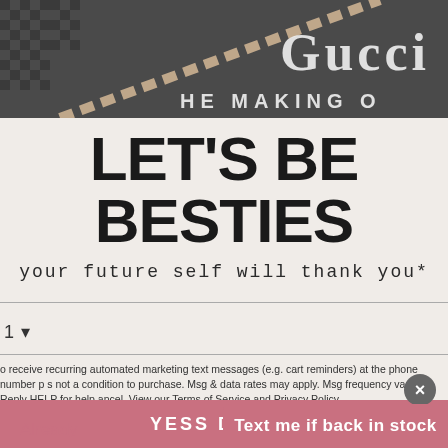[Figure (photo): Top cropped image showing a Gucci product with chain detail and text 'THE MAKING O...' on dark background]
LET'S BE BESTIES
your future self will thank you*
1 ▾
o receive recurring automated marketing text messages (e.g. cart reminders) at the phone number p... s not a condition to purchase. Msg & data rates may apply. Msg frequency varies. Reply HELP for help... ancel. View our Terms of Service and Privacy Policy.
YESS DUHHH
×
Text me if back in stock
Already